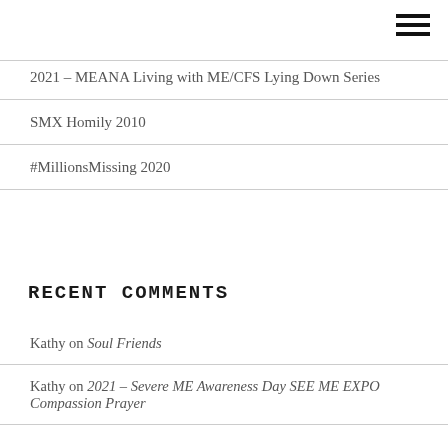[Figure (other): Hamburger menu icon (three horizontal lines) in top-right corner]
2021 – MEANA Living with ME/CFS Lying Down Series
SMX Homily 2010
#MillionsMissing 2020
RECENT COMMENTS
Kathy on Soul Friends
Kathy on 2021 – Severe ME Awareness Day SEE ME EXPO Compassion Prayer